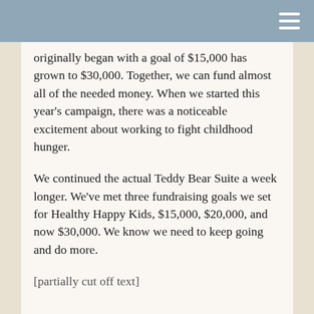originally began with a goal of $15,000 has grown to $30,000. Together, we can fund almost all of the needed money. When we started this year's campaign, there was a noticeable excitement about working to fight childhood hunger.
We continued the actual Teddy Bear Suite a week longer. We've met three fundraising goals we set for Healthy Happy Kids, $15,000, $20,000, and now $30,000. We know we need to keep going and do more.
[partially visible/cut off text at bottom]